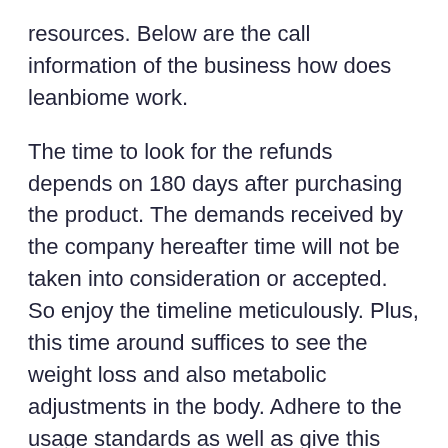resources. Below are the call information of the business how does leanbiome work.
The time to look for the refunds depends on 180 days after purchasing the product. The demands received by the company hereafter time will not be taken into consideration or accepted. So enjoy the timeline meticulously. Plus, this time around suffices to see the weight loss and also metabolic adjustments in the body. Adhere to the usage standards as well as give this item a complete possibility to reveal its effects. Speak to the firm if you do not see it working.
LeanBiome Conclusion